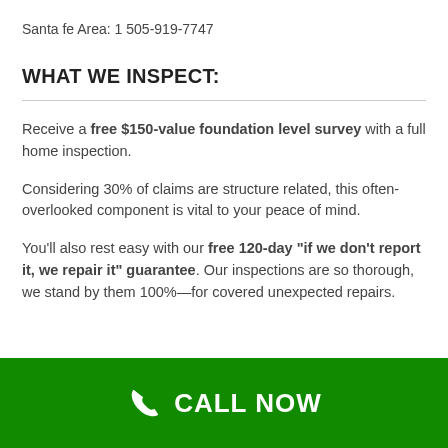Santa fe Area: 1 505-919-7747
WHAT WE INSPECT:
Receive a free $150-value foundation level survey with a full home inspection.
Considering 30% of claims are structure related, this often-overlooked component is vital to your peace of mind.
You’ll also rest easy with our free 120-day “if we don’t report it, we repair it” guarantee. Our inspections are so thorough, we stand by them 100%—for covered unexpected repairs.
CALL NOW